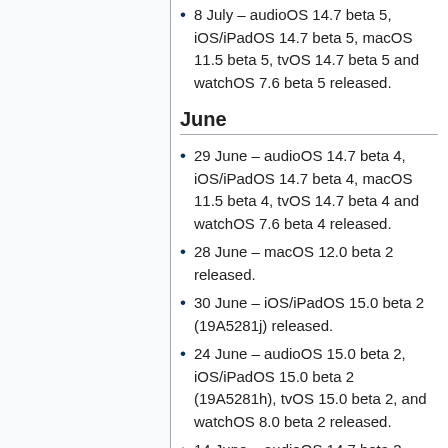8 July – audioOS 14.7 beta 5, iOS/iPadOS 14.7 beta 5, macOS 11.5 beta 5, tvOS 14.7 beta 5 and watchOS 7.6 beta 5 released.
June
29 June – audioOS 14.7 beta 4, iOS/iPadOS 14.7 beta 4, macOS 11.5 beta 4, tvOS 14.7 beta 4 and watchOS 7.6 beta 4 released.
28 June – macOS 12.0 beta 2 released.
30 June – iOS/iPadOS 15.0 beta 2 (19A5281j) released.
24 June – audioOS 15.0 beta 2, iOS/iPadOS 15.0 beta 2 (19A5281h), tvOS 15.0 beta 2, and watchOS 8.0 beta 2 released.
14 June – audioOS 14.7 beta 3, iOS/iPadOS 14.7 beta 3, macOS…